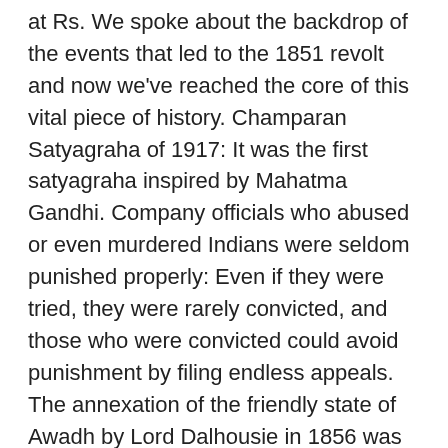at Rs. We spoke about the backdrop of the events that led to the 1851 revolt and now we've reached the core of this vital piece of history. Champaran Satyagraha of 1917: It was the first satyagraha inspired by Mahatma Gandhi. Company officials who abused or even murdered Indians were seldom punished properly: Even if they were tried, they were rarely convicted, and those who were convicted could avoid punishment by filing endless appeals. The annexation of the friendly state of Awadh by Lord Dalhousie in 1856 was also widely represented by the people at Awadh. The Meerut Mutiny (May 9, 1857) marked the beginning of the Revolt of 1857. The revolt that began at Meerut on May 10, 1857 very soon spread to large parts of northern India, including Bihar. V.D. Thus, different sections of the Indian society suffered hard under the British rule and became...